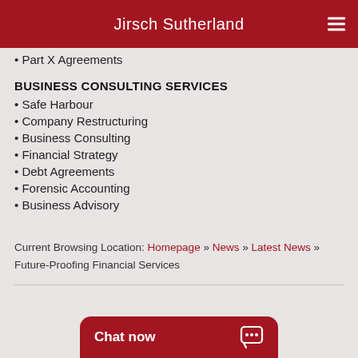Jirsch Sutherland
• Part X Agreements
BUSINESS CONSULTING SERVICES
• Safe Harbour
• Company Restructuring
• Business Consulting
• Financial Strategy
• Debt Agreements
• Forensic Accounting
• Business Advisory
Current Browsing Location: Homepage » News » Latest News » Future-Proofing Financial Services